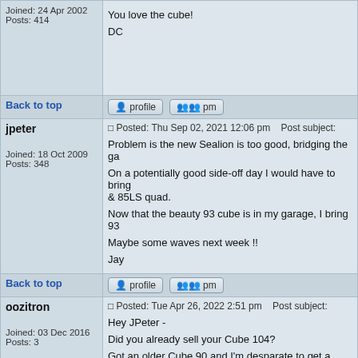Joined: 24 Apr 2002
Posts: 414
You love the cube!

DC
Back to top
jpeter
Posted: Thu Sep 02, 2021 12:06 pm    Post subject:
Problem is the new Sealion is too good, bridging the ga

On a potentially good side-off day I would have to bring & 85LS quad.

Now that the beauty 93 cube is in my garage, I bring 93

Maybe some waves next week !!

Jay
Joined: 18 Oct 2009
Posts: 348
Back to top
oozitron
Posted: Tue Apr 26, 2022 2:51 pm    Post subject:
Hey JPeter -

Did you already sell your Cube 104?

Got an older Cube 90 and I'm desparate to get a bigger

Andrew
Joined: 03 Dec 2016
Posts: 3
Back to top
jpeter
Posted: Thu Apr 28, 2022 5:58 pm    Post subject: